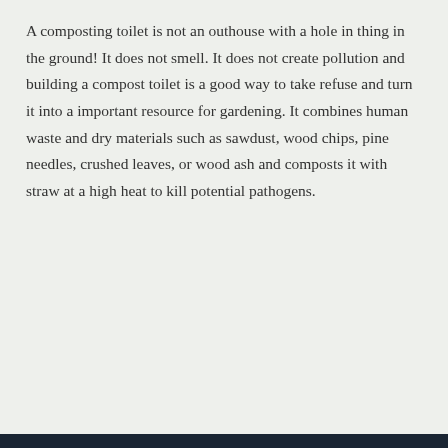A composting toilet is not an outhouse with a hole in thing in the ground!  It does not smell.  It does not create pollution and building a compost toilet is a good way to take refuse and turn it into a important resource for gardening. It combines human waste and dry materials such as sawdust, wood chips, pine needles, crushed leaves, or wood ash and composts it with straw at a high heat to kill potential pathogens.
Privacy & Cookies: This site uses cookies. By continuing to use this website, you agree to their use.
To find out more, including how to control cookies, see here: Cookie Policy